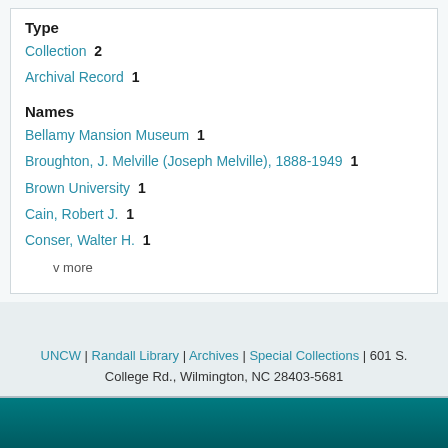Type
Collection  2
Archival Record  1
Names
Bellamy Mansion Museum  1
Broughton, J. Melville (Joseph Melville), 1888-1949  1
Brown University  1
Cain, Robert J.  1
Conser, Walter H.  1
v more
UNCW | Randall Library | Archives | Special Collections | 601 S. College Rd., Wilmington, NC 28403-5681